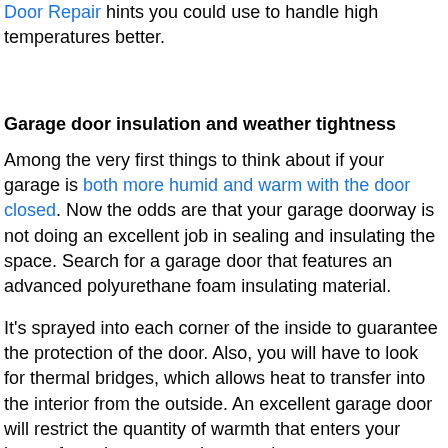Door Repair hints you could use to handle high temperatures better.
Garage door insulation and weather tightness
Among the very first things to think about if your garage is both more humid and warm with the door closed. Now the odds are that your garage doorway is not doing an excellent job in sealing and insulating the space. Search for a garage door that features an advanced polyurethane foam insulating material.
It's sprayed into each corner of the inside to guarantee the protection of the door. Also, you will have to look for thermal bridges, which allows heat to transfer into the interior from the outside. An excellent garage door will restrict the quantity of warmth that enters your house from the carport, the more heat you may eliminate from your garage, the